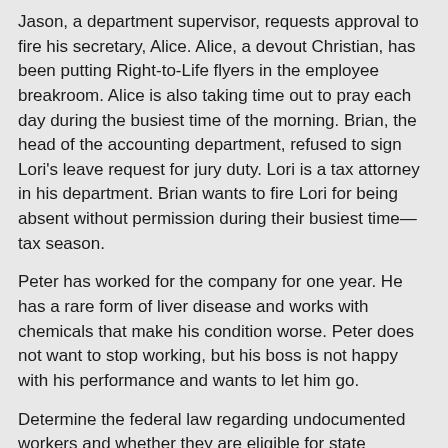Jason, a department supervisor, requests approval to fire his secretary, Alice. Alice, a devout Christian, has been putting Right-to-Life flyers in the employee breakroom. Alice is also taking time out to pray each day during the busiest time of the morning. Brian, the head of the accounting department, refused to sign Lori's leave request for jury duty. Lori is a tax attorney in his department. Brian wants to fire Lori for being absent without permission during their busiest time—tax season.
Peter has worked for the company for one year. He has a rare form of liver disease and works with chemicals that make his condition worse. Peter does not want to stop working, but his boss is not happy with his performance and wants to let him go.
Determine the federal law regarding undocumented workers and whether they are eligible for state workers' compensation in the United States. Advocate for or against this practice and substantiate your response with research to support your position.
Use the Strayer Library to conduct your research. Include at least three quality references. The textbook for this class is a required source for this assignment. Note: Wikipedia and similar websites do